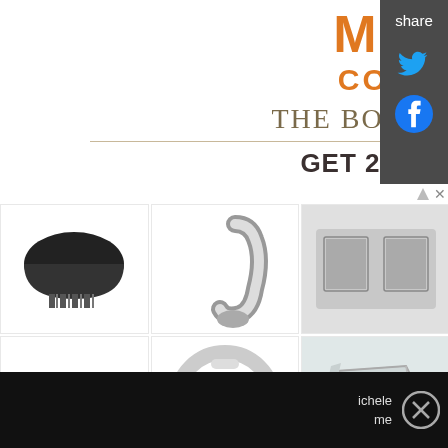[Figure (infographic): Book of Mormon Broadway ad showing 'MISSION COMPANION!' text, 'THE BOOK OF MORMON' heading, '2-FOR-1 TICKETS' offer during NYC Broadway Week September 6-25, use code BWAYWK, with orange GET TICKETS button]
[Figure (infographic): 4 State Trucks product advertisement showing 6 truck parts/accessories in a 3x2 grid: mud flap/fender, exhaust elbow pipe, truck side chrome trim, flatbed trailer diagram, chrome bezel ring, chrome mirror. With 4 State Trucks logo and name below.]
[Figure (infographic): Social share panel on right side with 'share' label, Twitter bird icon in blue, and Facebook icon in blue, on dark gray background]